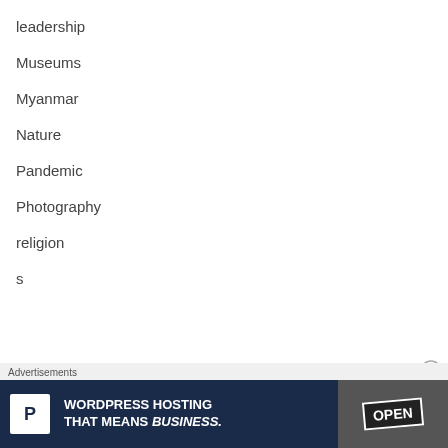leadership
Museums
Myanmar
Nature
Pandemic
Photography
religion
s
Advertisements
[Figure (other): Advertisement banner: WordPress Hosting That Means Business. with P logo and OPEN sign image]